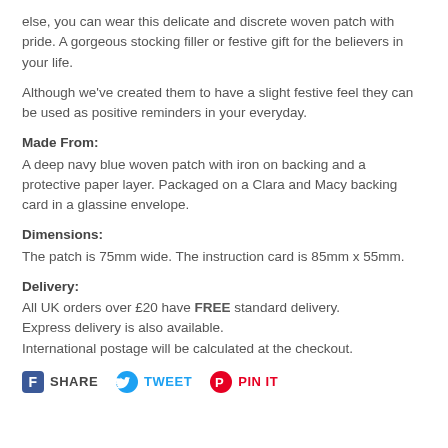else, you can wear this delicate and discrete woven patch with pride. A gorgeous stocking filler or festive gift for the believers in your life.
Although we've created them to have a slight festive feel they can be used as positive reminders in your everyday.
Made From:
A deep navy blue woven patch with iron on backing and a protective paper layer. Packaged on a Clara and Macy backing card in a glassine envelope.
Dimensions:
The patch is 75mm wide. The instruction card is 85mm x 55mm.
Delivery:
All UK orders over £20 have FREE standard delivery.
Express delivery is also available.
International postage will be calculated at the checkout.
SHARE   TWEET   PIN IT